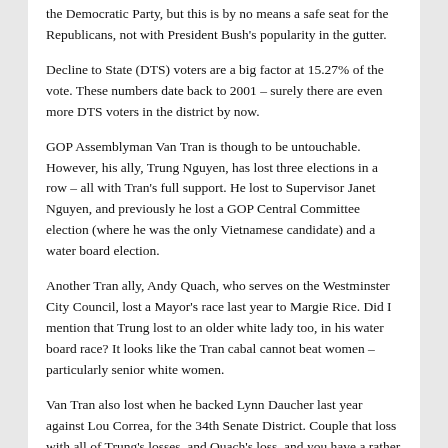the Democratic Party, but this is by no means a safe seat for the Republicans, not with President Bush's popularity in the gutter.
Decline to State (DTS) voters are a big factor at 15.27% of the vote. These numbers date back to 2001 – surely there are even more DTS voters in the district by now.
GOP Assemblyman Van Tran is though to be untouchable. However, his ally, Trung Nguyen, has lost three elections in a row – all with Tran's full support. He lost to Supervisor Janet Nguyen, and previously he lost a GOP Central Committee election (where he was the only Vietnamese candidate) and a water board election.
Another Tran ally, Andy Quach, who serves on the Westminster City Council, lost a Mayor's race last year to Margie Rice. Did I mention that Trung lost to an older white lady too, in his water board race? It looks like the Tran cabal cannot beat women – particularly senior white women.
Van Tran also lost when he backed Lynn Daucher last year against Lou Correa, for the 34th Senate District. Couple that loss with all of Trung's losses, and Quach's loss, and you have a rather miserable record.